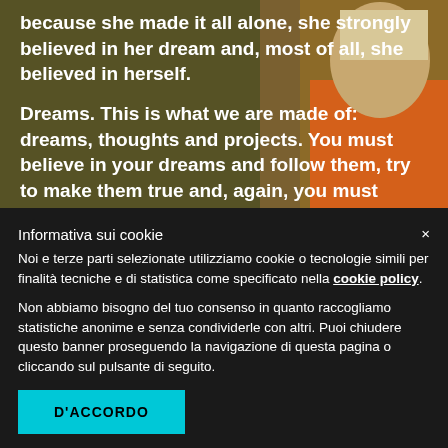[Figure (photo): Background photo showing a person in an orange outfit, partially visible, with olive/brown toned background]
because she made it all alone, she strongly believed in her dream and, most of all, she believed in herself.
Dreams. This is what we are made of: dreams, thoughts and projects. You must believe in your dreams and follow them, try to make them true and, again, you must believe in them. You must not care about what other people think. If something makes
Informativa sui cookie
Noi e terze parti selezionate utilizziamo cookie o tecnologie simili per finalità tecniche e di statistica come specificato nella cookie policy.
Non abbiamo bisogno del tuo consenso in quanto raccogliamo statistiche anonime e senza condividerle con altri. Puoi chiudere questo banner proseguendo la navigazione di questa pagina o cliccando sul pulsante di seguito.
D'ACCORDO